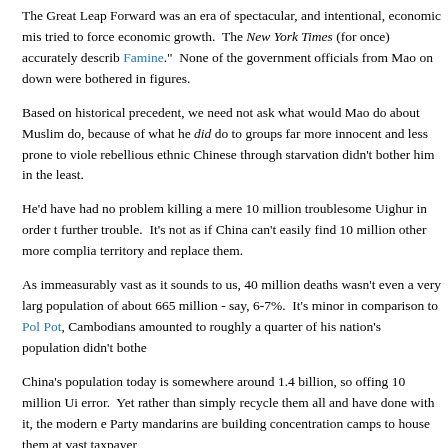The Great Leap Forward was an era of spectacular, and intentional, economic mis... tried to force economic growth.  The New York Times (for once) accurately describ... Famine."  None of the government officials from Mao on down were bothered in... figures.
Based on historical precedent, we need not ask what would Mao do about Muslim... do, because of what he did do to groups far more innocent and less prone to viole... rebellious ethnic Chinese through starvation didn't bother him in the least.
He'd have had no problem killing a mere 10 million troublesome Uighur in order t... further trouble.  It's not as if China can't easily find 10 million other more complia... territory and replace them.
As immeasurably vast as it sounds to us, 40 million deaths wasn't even a very larg... population of about 665 million - say, 6-7%.  It's minor in comparison to Pol Pot,... Cambodians amounted to roughly a quarter of his nation's population didn't bothe...
China's population today is somewhere around 1.4 billion, so offing 10 million Ui... error.  Yet rather than simply recycle them all and have done with it, the modern e... Party mandarins are building concentration camps to house them at vast taxpayer...